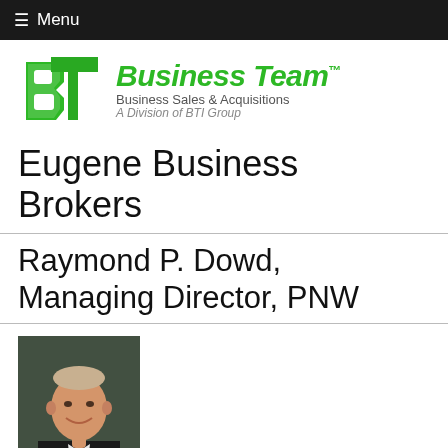☰ Menu
[Figure (logo): Business Team logo with green BT letters and text: Business Team, Business Sales & Acquisitions, A Division of BTI Group]
Eugene Business Brokers
Raymond P. Dowd, Managing Director, PNW
[Figure (photo): Professional headshot of Raymond P. Dowd, a man in a dark suit with a yellow tie, smiling]